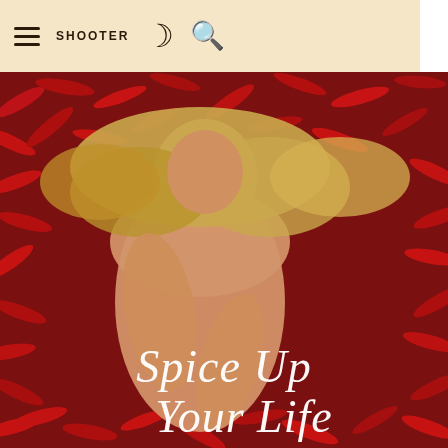≡ SHOOTER ☽ 🔍
[Figure (photo): A blonde woman lying on a bed of red chili peppers, partially covering herself, with the overlaid text 'Spice Up Your Life' in white italic script at the bottom of the image.]